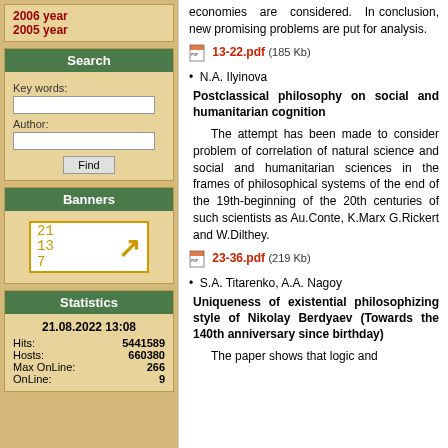2006 year
2005 year
Search
Key words:
Author:
Find
Banners
[Figure (other): Banner with numbers 21 13 7 and arrow icon]
Statistics
21.08.2022 13:08
Hits: 5441589
Hosts: 660380
Max OnLine: 266
OnLine: 9
economies are considered. In conclusion, new promising problems are put for analysis.
13-22.pdf (185 Kb)
N.A. Ilyinova
Postclassical philosophy on social and humanitarian cognition
The attempt has been made to consider problem of correlation of natural science and social and humanitarian sciences in the frames of philosophical systems of the end of the 19th-beginning of the 20th centuries of such scientists as Au.Conte, K.Marx G.Rickert and W.Dilthey.
23-36.pdf (219 Kb)
S.A. Titarenko, A.A. Nagoy
Uniqueness of existential philosophizing style of Nikolay Berdyaev (Towards the 140th anniversary since birthday)
The paper shows that logic and